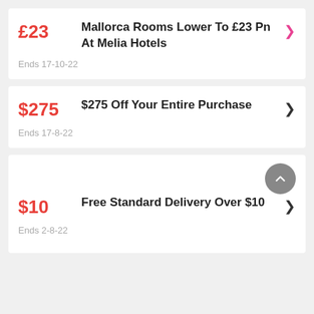£23 — Mallorca Rooms Lower To £23 Pn At Melia Hotels — Ends 17-10-22
$275 — $275 Off Your Entire Purchase — Ends 17-8-22
$10 — Free Standard Delivery Over $10 — Ends 2-8-22